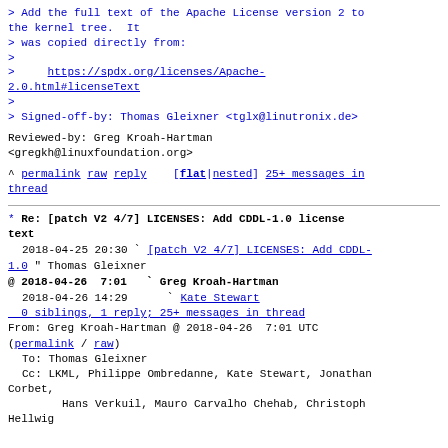> Add the full text of the Apache License version 2 to the kernel tree.  It
> was copied directly from:
>
>     https://spdx.org/licenses/Apache-2.0.html#licenseText
>
> Signed-off-by: Thomas Gleixner <tglx@linutronix.de>
Reviewed-by: Greg Kroah-Hartman <gregkh@linuxfoundation.org>
^ permalink raw reply   [flat|nested] 25+ messages in thread
* Re: [patch V2 4/7] LICENSES: Add CDDL-1.0 license text
  2018-04-25 20:30  ` [patch V2 4/7] LICENSES: Add CDDL-1.0  Thomas Gleixner
@ 2018-04-26  7:01   ` Greg Kroah-Hartman
  2018-04-26 14:29     ` Kate Stewart
  0 siblings, 1 reply; 25+ messages in thread
From: Greg Kroah-Hartman @ 2018-04-26  7:01 UTC (permalink / raw)
  To: Thomas Gleixner
  Cc: LKML, Philippe Ombredanne, Kate Stewart, Jonathan Corbet,
      Hans Verkuil, Mauro Carvalho Chehab, Christoph Hellwig